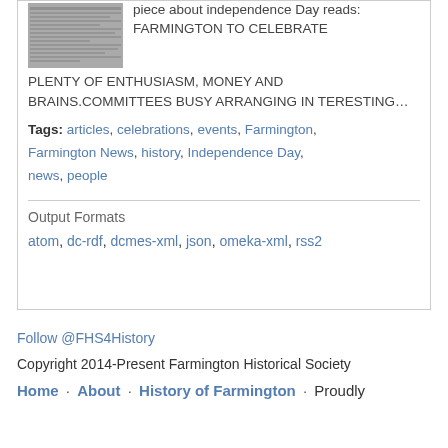[Figure (photo): Small thumbnail image of a newspaper or document page]
piece about independence Day reads: FARMINGTON TO CELEBRATE PLENTY OF ENTHUSIASM, MONEY AND BRAINS.COMMITTEES BUSY ARRANGING IN TERESTING…
Tags: articles, celebrations, events, Farmington, Farmington News, history, Independence Day, news, people
Output Formats
atom, dc-rdf, dcmes-xml, json, omeka-xml, rss2
Follow @FHS4History
Copyright 2014-Present Farmington Historical Society
Home · About · History of Farmington · Proudly